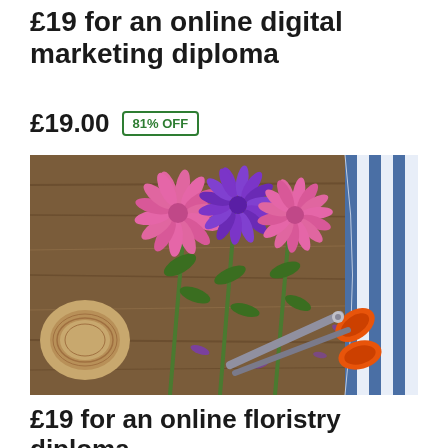£19 for an online digital marketing diploma
£19.00  81% OFF
[Figure (photo): Flatlay photo of three pink and purple aster flowers with stems, a spool of twine, scissors with orange handles, and a blue and white striped cloth on a rustic wooden surface.]
£19 for an online floristry diploma